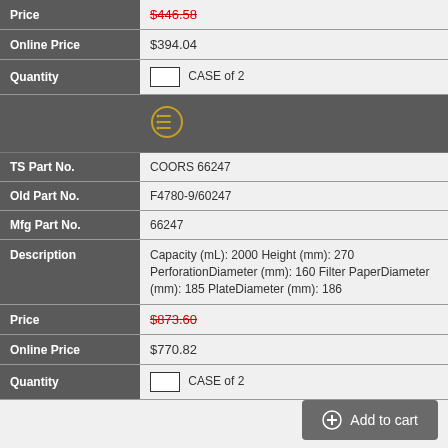| Field | Value |
| --- | --- |
| Price | $446.58 |
| Online Price | $394.04 |
| Quantity | CASE of 2 |
|  | (icon) |
| TS Part No. | COORS 66247 |
| Old Part No. | F4780-9/60247 |
| Mfg Part No. | 66247 |
| Description | Capacity (mL): 2000 Height (mm): 270 PerforationDiameter (mm): 160 Filter PaperDiameter (mm): 185 PlateDiameter (mm): 186 |
| Price | $873.60 |
| Online Price | $770.82 |
| Quantity | CASE of 2 |
Add to cart